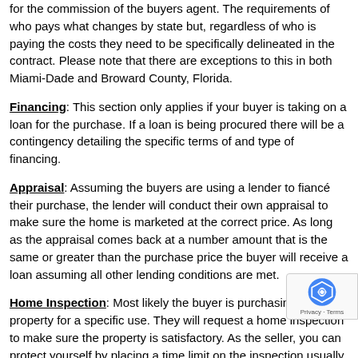for the commission of the buyers agent. The requirements of who pays what changes by state but, regardless of who is paying the costs they need to be specifically delineated in the contract. Please note that there are exceptions to this in both Miami-Dade and Broward County, Florida.
Financing: This section only applies if your buyer is taking on a loan for the purchase. If a loan is being procured there will be a contingency detailing the specific terms of and type of financing.
Appraisal: Assuming the buyers are using a lender to fiancé their purchase, the lender will conduct their own appraisal to make sure the home is marketed at the correct price. As long as the appraisal comes back at a number amount that is the same or greater than the purchase price the buyer will receive a loan assuming all other lending conditions are met.
Home Inspection: Most likely the buyer is purchasing the property for a specific use. They will request a home inspection to make sure the property is satisfactory. As the seller, you can protect yourself by placing a time limit on the inspection usually ten (10) da... enough for completion.
Risk... The seller should...